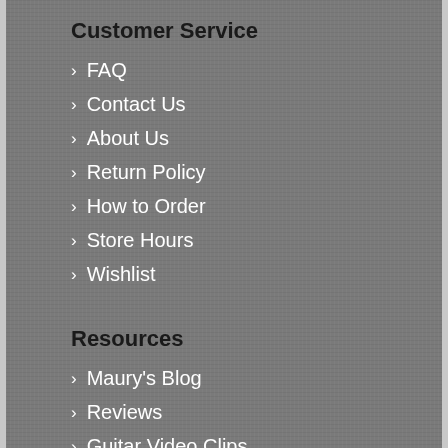Customer Service
FAQ
Contact Us
About Us
Return Policy
How to Order
Store Hours
Wishlist
Resources
Maury's Blog
Reviews
Guitar Video Clips
Learning Room
Customer Forum
Customer Corner